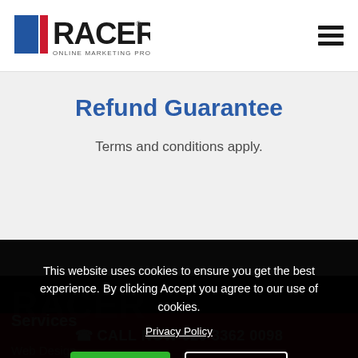[Figure (logo): RACER Online Marketing Professionals logo with blue square and red bar, top-left header]
Refund Guarantee
Terms and conditions apply.
This website uses cookies to ensure you get the best experience. By clicking Accept you agree to our use of cookies.
Privacy Policy
Accept
Decline
Services
Web Design
📞 CALL NOW 020 3362 0098